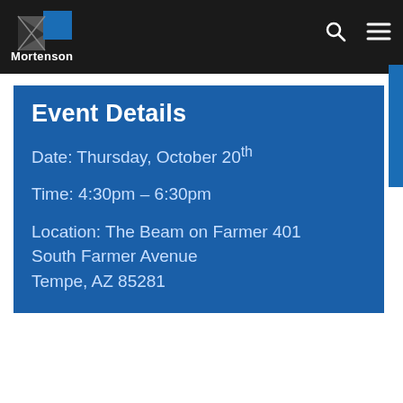[Figure (logo): Mortenson company logo with geometric blue and grey triangles/squares, white text 'Mortenson' below]
Event Details
Date: Thursday, October 20th
Time: 4:30pm – 6:30pm
Location: The Beam on Farmer 401 South Farmer Avenue Tempe, AZ 85281